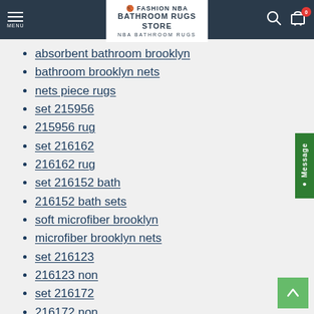Fashion NBA Bathroom Rugs Store — NBA Bathroom Rugs
absorbent bathroom brooklyn
bathroom brooklyn nets
nets piece rugs
set 215956
215956 rug
set 216162
216162 rug
set 216152 bath
216152 bath sets
soft microfiber brooklyn
microfiber brooklyn nets
set 216123
216123 non
set 216172
216172 non
washable floor brooklyn
floor brooklyn nets